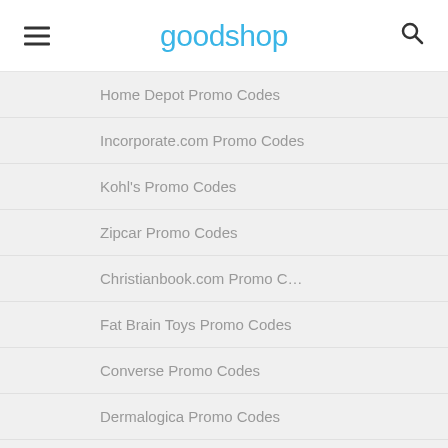goodshop
Home Depot Promo Codes
Incorporate.com Promo Codes
Kohl's Promo Codes
Zipcar Promo Codes
Christianbook.com Promo C...
Fat Brain Toys Promo Codes
Converse Promo Codes
Dermalogica Promo Codes
Classic Industries Promo Co...
Browse by Store